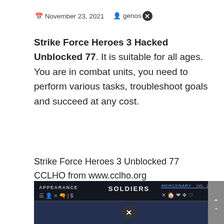November 23, 2021   genos
Strike Force Heroes 3 Hacked Unblocked 77. It is suitable for all ages. You are in combat units, you need to perform various tasks, troubleshoot goals and succeed at any cost.
Strike Force Heroes 3 Unblocked 77 CCLHO from www.cclho.org
Comments unblocked games 77 at school. Strike force heroes 2 hacked unblocked 76. It is suitable for all ages.
[Figure (screenshot): Screenshot of Strike Force Heroes game UI showing APPEARANCE, SOLDIERS, and MERCENARY tabs with game icons]